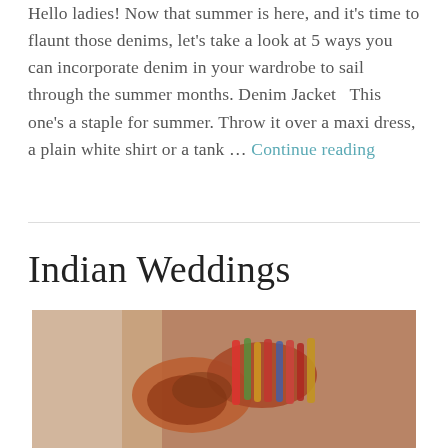Hello ladies! Now that summer is here, and it's time to flaunt those denims, let's take a look at 5 ways you can incorporate denim in your wardrobe to sail through the summer months. Denim Jacket   This one's a staple for summer. Throw it over a maxi dress, a plain white shirt or a tank … Continue reading
Indian Weddings
[Figure (photo): Close-up photo of hands with henna/mehndi and colorful bangles, likely from an Indian wedding ceremony]